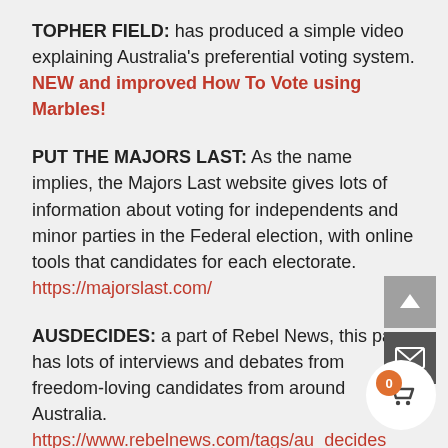TOPHER FIELD: has produced a simple video explaining Australia's preferential voting system. NEW and improved How To Vote using Marbles!
PUT THE MAJORS LAST: As the name implies, the Majors Last website gives lots of information about voting for independents and minor parties in the Federal election, with online tools that candidates for each electorate. https://majorslast.com/
AUSDECIDES: a part of Rebel News, this page has lots of interviews and debates from freedom-loving candidates from around Australia. https://www.rebelnews.com/tags/au_decides